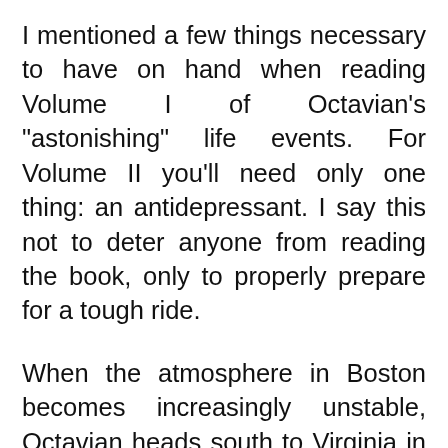I mentioned a few things necessary to have on hand when reading Volume I of Octavian's "astonishing" life events. For Volume II you'll need only one thing: an antidepressant. I say this not to deter anyone from reading the book, only to properly prepare for a tough ride.
When the atmosphere in Boston becomes increasingly unstable, Octavian heads south to Virginia in hopes of joining Lord Dunmore's Royal Ethiopian Army. Freedom is promised to slaves willing to fight for Loyalist interests, and Octavian is among many with dreams of a new and free life promised at the end of the war. This is the most difficult part--reading of their hopes but knowing the reality that blacks will not begin to see significant change for many,